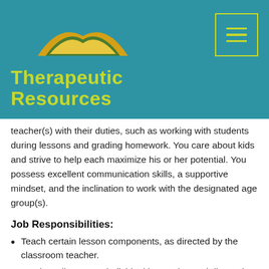[Figure (logo): Therapeutic Resources logo with arc graphic and green/yellow text on teal background, with hamburger menu button in top right]
teacher(s) with their duties, such as working with students during lessons and grading homework. You care about kids and strive to help each maximize his or her potential. You possess excellent communication skills, a supportive mindset, and the inclination to work with the designated age group(s).
Job Responsibilities:
Teach certain lesson components, as directed by the classroom teacher.
Lead small-group or individual instruction and discussion.
Review classwork material and grade homework